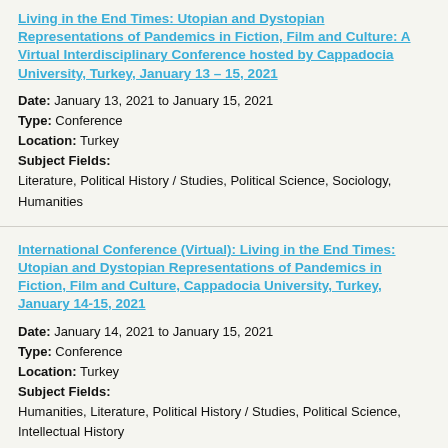Living in the End Times: Utopian and Dystopian Representations of Pandemics in Fiction, Film and Culture: A Virtual Interdisciplinary Conference hosted by Cappadocia University, Turkey, January 13 – 15, 2021
Date: January 13, 2021 to January 15, 2021
Type: Conference
Location: Turkey
Subject Fields: Literature, Political History / Studies, Political Science, Sociology, Humanities
International Conference (Virtual): Living in the End Times: Utopian and Dystopian Representations of Pandemics in Fiction, Film and Culture, Cappadocia University, Turkey, January 14-15, 2021
Date: January 14, 2021 to January 15, 2021
Type: Conference
Location: Turkey
Subject Fields: Humanities, Literature, Political History / Studies, Political Science, Intellectual History